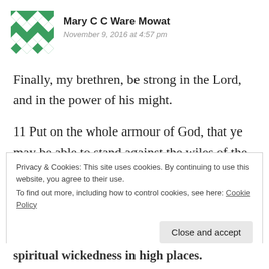[Figure (illustration): Green and white geometric quilt-pattern avatar icon]
Mary C C Ware Mowat
November 9, 2016 at 4:57 pm
Finally, my brethren, be strong in the Lord, and in the power of his might.
11 Put on the whole armour of God, that ye may be able to stand against the wiles of the devil.
Privacy & Cookies: This site uses cookies. By continuing to use this website, you agree to their use.
To find out more, including how to control cookies, see here: Cookie Policy
Close and accept
spiritual wickedness in high places.